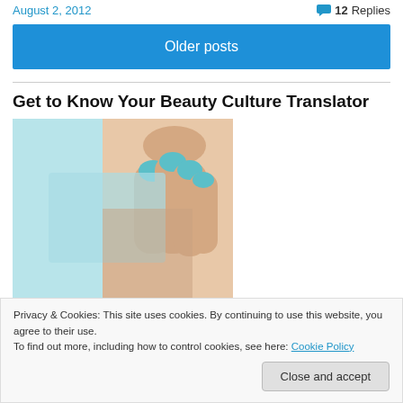August 2, 2012
💬 12 Replies
Older posts
Get to Know Your Beauty Culture Translator
[Figure (photo): Close-up photo of a hand with teal/turquoise nail polish holding a light blue/teal card or object]
Privacy & Cookies: This site uses cookies. By continuing to use this website, you agree to their use.
To find out more, including how to control cookies, see here: Cookie Policy
Close and accept
Follow me with Bloglovin'!